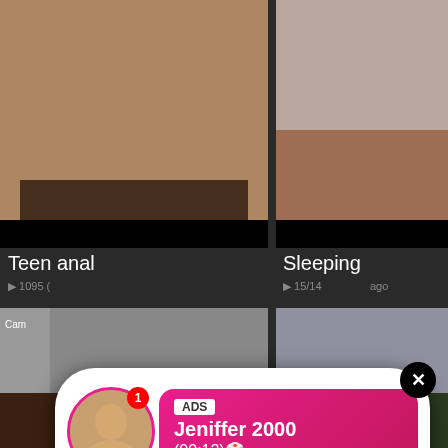[Figure (photo): Adult video thumbnail - top left]
[Figure (photo): Adult video thumbnail - top right]
Teen anal
Sleeping
1095 (views/comments info) ago
15/14 (views/comments info) ago
[Figure (photo): Ad popup notification with profile avatar, LIVE badge, ADS tag, name Jeniffer 2000, time (00:12)]
[Figure (photo): Adult video thumbnail mid left - woman performing oral sex]
[Figure (photo): Ad panel right side - WHAT DO YOU WANT? WATCH button, Online indicator, three sub-thumbnails, text: Cumming, ass fucking, squirt or... ADS]
Car
14
WHAT DO YOU WANT?
WATCH
Online
Cumming, ass fucking, squirt or...
• ADS
[Figure (photo): Bottom left thumbnail - partial view]
[Figure (photo): Bottom right thumbnail - partial view]